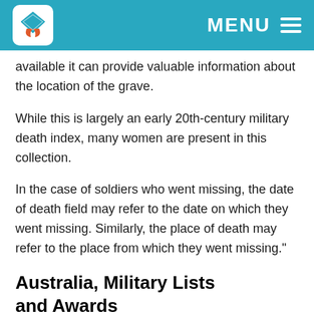MENU
available it can provide valuable information about the location of the grave.
While this is largely an early 20th-century military death index, many women are present in this collection.
In the case of soldiers who went missing, the date of death field may refer to the date on which they went missing. Similarly, the place of death may refer to the place from which they went missing."
Australia, Military Lists and Awards
An index of Australian military rolls.
969,991 records